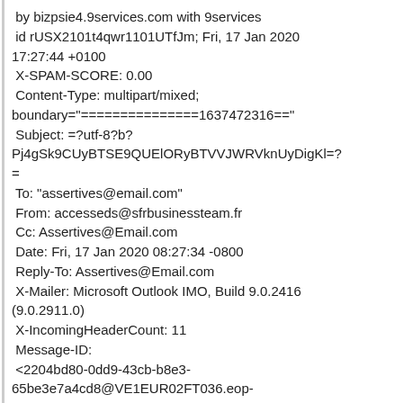by bizpsie4.9services.com with 9services id rUSX2101t4qwr1101UTfJm; Fri, 17 Jan 2020 17:27:44 +0100
 X-SPAM-SCORE: 0.00
 Content-Type: multipart/mixed;
boundary="===============1637472316=="
 Subject: =?utf-8?b?
Pj4gSk9CUyBTSE9QUElORyBTVVJWRVknUyDigKl=?=
 To: "assertives@email.com"
 From: accesseds@sfrbusinessteam.fr
 Cc: Assertives@Email.com
 Date: Fri, 17 Jan 2020 08:27:34 -0800
 Reply-To: Assertives@Email.com
 X-Mailer: Microsoft Outlook IMO, Build 9.0.2416 (9.0.2911.0)
 X-IncomingHeaderCount: 11
 Message-ID:
 <2204bd80-0dd9-43cb-b8e3-65be3e7a4cd8@VE1EUR02FT036.eop-